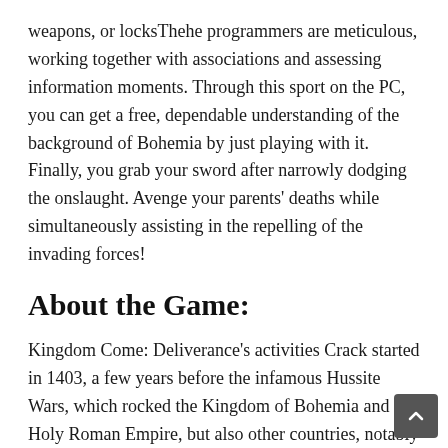weapons, or locksThehe programmers are meticulous, working together with associations and assessing information moments. Through this sport on the PC, you can get a free, dependable understanding of the background of Bohemia by just playing with it. Finally, you grab your sword after narrowly dodging the onslaught. Avenge your parents' deaths while simultaneously assisting in the repelling of the invading forces!
About the Game:
Kingdom Come: Deliverance's activities Crack started in 1403, a few years before the infamous Hussite Wars, which rocked the Kingdom of Bohemia and the Holy Roman Empire, but also other countries, notably Wladyslaw Jagiello's Kingdom of Poland. The engineers made it a point to ensure accuracy not just in terms of minor details like character look but also in terms of recorded events. So we can see both Polish knights who traveled to Bohemia and representatives of the Teutonic Order who competed and fought with Poland at the time in the fun. Salvation Torrent provides a great deal of customization